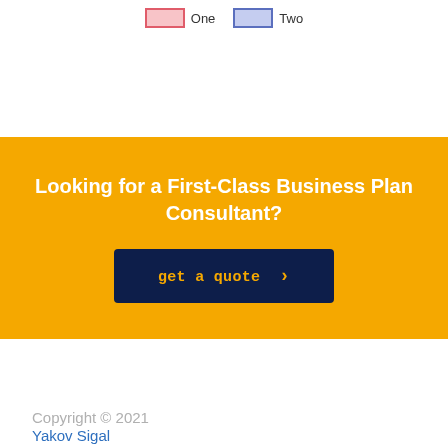[Figure (other): Legend with two colored boxes labeled 'One' (red/pink) and 'Two' (blue/purple)]
Looking for a First-Class Business Plan Consultant?
get a quote ›
Copyright © 2021
Yakov Sigal